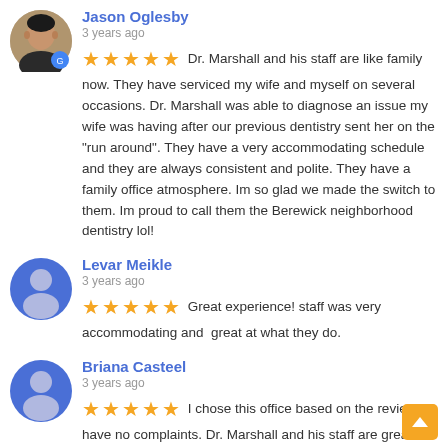[Figure (photo): Circular avatar photo of Jason Oglesby, a young person]
Jason Oglesby
3 years ago
Dr. Marshall and his staff are like family now. They have serviced my wife and myself on several occasions. Dr. Marshall was able to diagnose an issue my wife was having after our previous dentistry sent her on the "run around". They have a very accommodating schedule and they are always consistent and polite. They have a family office atmosphere. Im so glad we made the switch to them. Im proud to call them the Berewick neighborhood dentistry lol!
[Figure (illustration): Circular blue avatar icon for Levar Meikle]
Levar Meikle
3 years ago
Great experience! staff was very accommodating and  great at what they do.
[Figure (illustration): Circular blue avatar icon for Briana Casteel]
Briana Casteel
3 years ago
I chose this office based on the reviews. I have no complaints. Dr. Marshall and his staff are great.